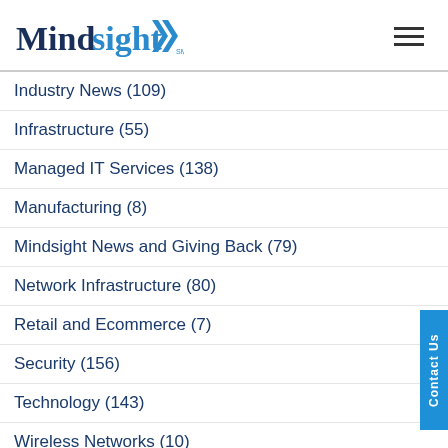[Figure (logo): Mindsight logo with dark navy text 'Mind' and blue 'sight' with double arrow chevron, and 'sm' service mark]
Industry News (109)
Infrastructure (55)
Managed IT Services (138)
Manufacturing (8)
Mindsight News and Giving Back (79)
Network Infrastructure (80)
Retail and Ecommerce (7)
Security (156)
Technology (143)
Wireless Networks (10)